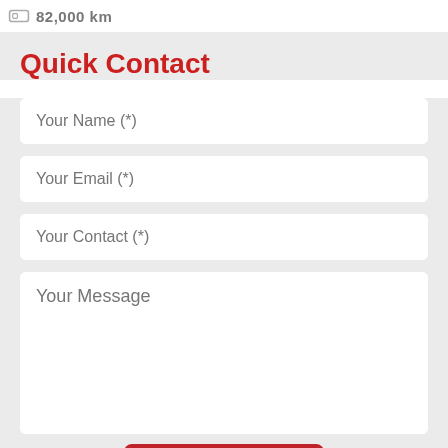82,000 km
Quick Contact
Your Name (*)
Your Email (*)
Your Contact (*)
Your Message
Book Now